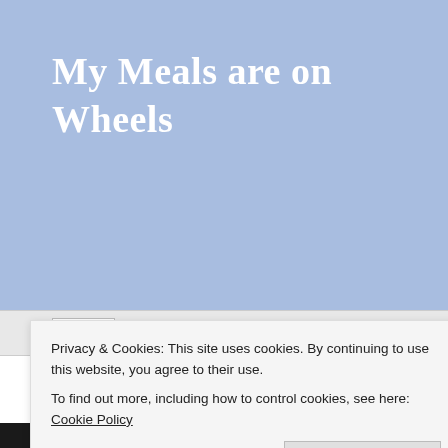My Meals are on Wheels
Blog
Easy Italian Pasta Salad — Impress NOT Stress
August 1, 2021 at 6:36 AM | Posted in Uncategorized | Leave a comment
[Figure (photo): Food photograph showing pasta salad with dark background, partially visible]
Privacy & Cookies: This site uses cookies. By continuing to use this website, you agree to their use.
To find out more, including how to control cookies, see here: Cookie Policy
Close and accept